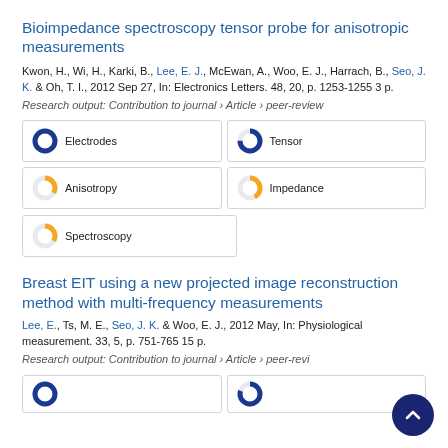Bioimpedance spectroscopy tensor probe for anisotropic measurements
Kwon, H., Wi, H., Karki, B., Lee, E. J., McEwan, A., Woo, E. J., Harrach, B., Seo, J. K. & Oh, T. I., 2012 Sep 27, In: Electronics Letters. 48, 20, p. 1253-1255 3 p.
Research output: Contribution to journal › Article › peer-review
[Figure (infographic): Keyword badges with donut charts: Electrodes 100%, Tensor 75%, Anisotropy 33%, Impedance 42%, Spectroscopy 33%]
Breast EIT using a new projected image reconstruction method with multi-frequency measurements
Lee, E., Ts, M. E., Seo, J. K. & Woo, E. J., 2012 May, In: Physiological measurement. 33, 5, p. 751-765 15 p.
Research output: Contribution to journal › Article › peer-review